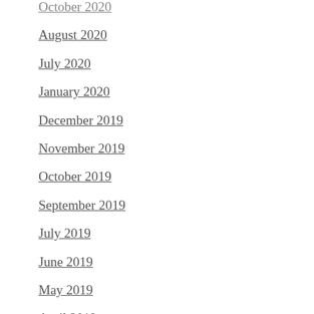October 2020
August 2020
July 2020
January 2020
December 2019
November 2019
October 2019
September 2019
July 2019
June 2019
May 2019
April 2019
March 2019
January 2019
October 2018
September 2018
August 2018
May 2018
April 2018